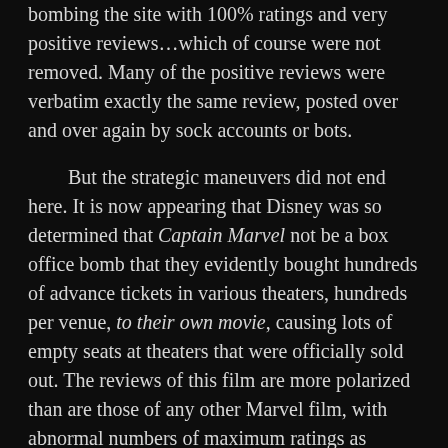bombing the site with 100% ratings and very positive reviews…which of course were not removed. Many of the positive reviews were verbatim exactly the same review, posted over and over again by sock accounts or bots.

But the strategic maneuvers did not end here. It is now appearing that Disney was so determined that Captain Marvel not be a box office bomb that they evidently bought hundreds of advance tickets in various theaters, hundreds per venue, to their own movie, causing lots of empty seats at theaters that were officially sold out. The reviews of this film are more polarized than are those of any other Marvel film, with abnormal numbers of maximum ratings as